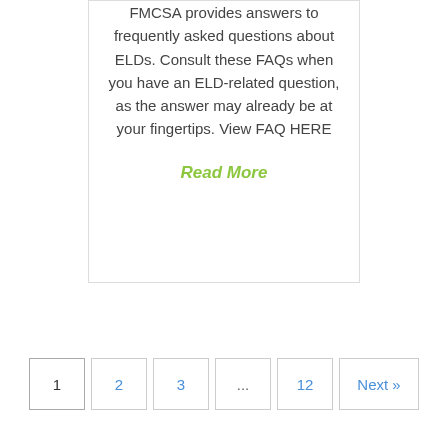FMCSA provides answers to frequently asked questions about ELDs. Consult these FAQs when you have an ELD-related question, as the answer may already be at your fingertips. View FAQ HERE
Read More
1
2
3
...
12
Next »